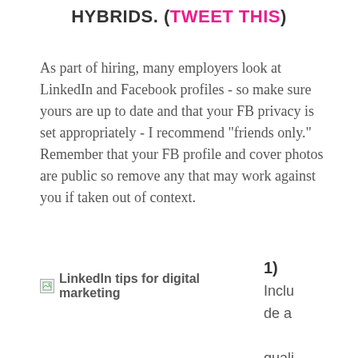HYBRIDS. (TWEET THIS)
As part of hiring, many employers look at LinkedIn and Facebook profiles - so make sure yours are up to date and that your FB privacy is set appropriately - I recommend "friends only." Remember that your FB profile and cover photos are public so remove any that may work against you if taken out of context.
[Figure (illustration): Small image icon labeled 'LinkedIn tips for digital marketing']
1) Include a quality professional photo